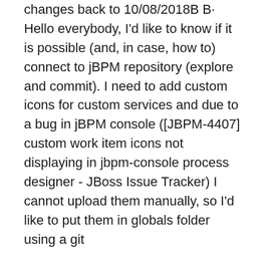changes back to 10/08/2018B B· Hello everybody, I'd like to know if it is possible (and, in case, how to) connect to jBPM repository (explore and commit). I need to add custom icons for custom services and due to a bug in jBPM console ([JBPM-4407] custom work item icons not displaying in jbpm-console process designer - JBoss Issue Tracker) I cannot upload them manually, so I'd like to put them in globals folder using a git
Downloading your repository to another computer allows you to split your work across more than one machine, all the while using your cloud (GitHub) repository to keep everything in sync. To download a Git repository to a new computer use the git clone command. As we are